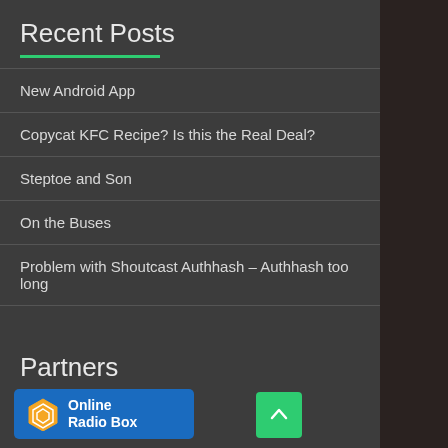Recent Posts
New Android App
Copycat KFC Recipe? Is this the Real Deal?
Steptoe and Son
On the Buses
Problem with Shoutcast Authhash – Authhash too long
Partners
[Figure (logo): LiveRadio.ie logo with orange radio wave icon and text in orange]
[Figure (logo): Online Radio Box badge — blue rectangle with hexagonal logo icon and white bold text 'Online Radio Box']